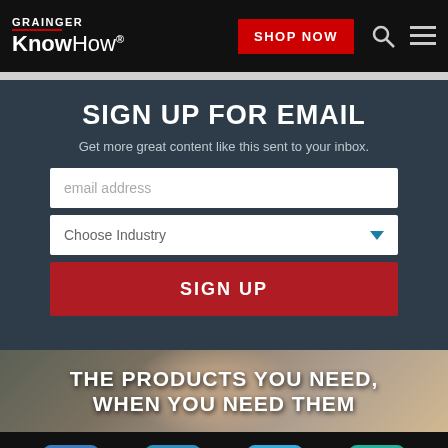GRAINGER KnowHow® SHOP NOW
SIGN UP FOR EMAIL
Get more great content like this sent to your inbox.
email address
Choose Industry
SIGN UP
[Figure (photo): Man's face partially visible, industrial background with shelving]
THE PRODUCTS YOU NEED, WHEN YOU NEED THEM
Social media icons: Facebook, LinkedIn, Twitter, Email